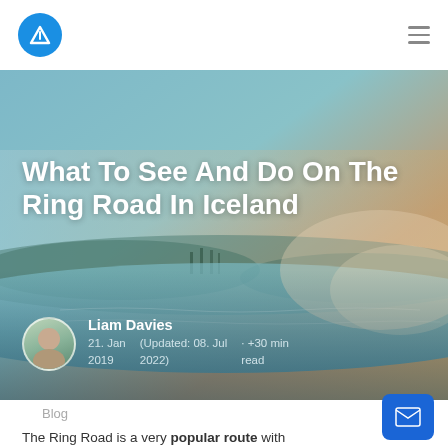Navigation bar with logo and hamburger menu
[Figure (photo): Hero image of Iceland landscape – misty teal and warm orange-toned scenic background with ring road and waterscape]
What To See And Do On The Ring Road In Iceland
Liam Davies
21. Jan 2019    (Updated: 08. Jul 2022)    · +30 min read
Blog
The Ring Road is a very popular route with